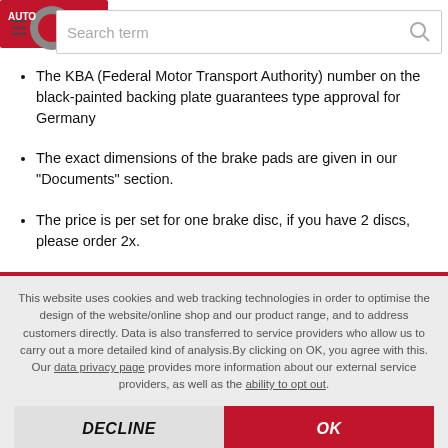[Figure (logo): Red and grey automotive logo in top left corner]
[Figure (screenshot): Search bar with 'Search term' placeholder and hamburger menu icon]
The KBA (Federal Motor Transport Authority) number on the black-painted backing plate guarantees type approval for Germany
The exact dimensions of the brake pads are given in our "Documents" section.
The price is per set for one brake disc, if you have 2 discs, please order 2x.
This website uses cookies and web tracking technologies in order to optimise the design of the website/online shop and our product range, and to address customers directly. Data is also transferred to service providers who allow us to carry out a more detailed kind of analysis. By clicking on OK, you agree with this. Our data privacy page provides more information about our external service providers, as well as the ability to opt out.